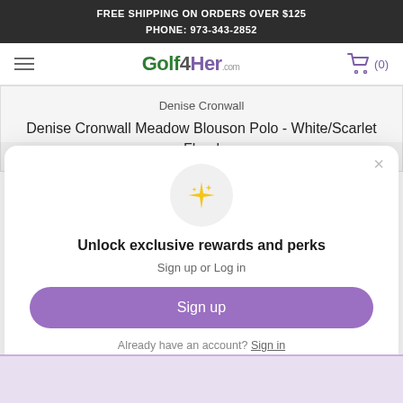FREE SHIPPING ON ORDERS OVER $125
PHONE: 973-343-2852
[Figure (logo): Golf4Her.com logo with hamburger menu on left and cart icon showing (0) on right]
Denise Cronwall
Denise Cronwall Meadow Blouson Polo - White/Scarlet Floral
[Figure (infographic): Modal popup with sparkle icon, 'Unlock exclusive rewards and perks' heading, 'Sign up or Log in' subtext, purple 'Sign up' button, and 'Already have an account? Sign in' link]
Unlock exclusive rewards and perks
Sign up or Log in
Sign up
Already have an account? Sign in